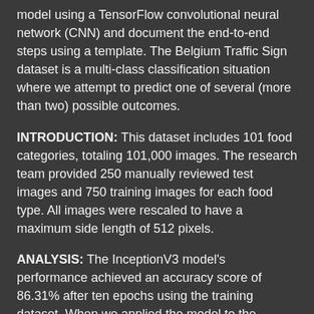model using a TensorFlow convolutional neural network (CNN) and document the end-to-end steps using a template. The Belgium Traffic Sign dataset is a multi-class classification situation where we attempt to predict one of several (more than two) possible outcomes.
INTRODUCTION: This dataset includes 101 food categories, totaling 101,000 images. The research team provided 250 manually reviewed test images and 750 training images for each food type. All images were rescaled to have a maximum side length of 512 pixels.
ANALYSIS: The InceptionV3 model's performance achieved an accuracy score of 86.31% after ten epochs using the training dataset. When we applied the model to the validation dataset, the model achieved an accuracy score of 78.75%.